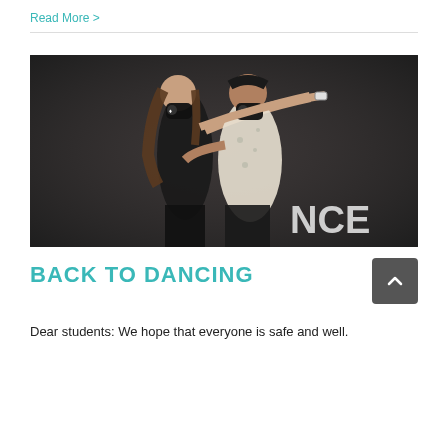Read More >
[Figure (photo): Two dancers wearing black face masks in a dancing pose against a dark background with partial text 'NCE' visible]
BACK TO DANCING
Dear students: We hope that everyone is safe and well.